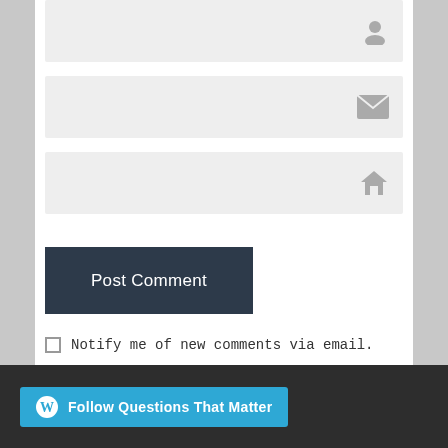[Figure (screenshot): Name input field with person icon on right]
[Figure (screenshot): Email input field with envelope icon on right]
[Figure (screenshot): Website input field with house/home icon on right]
Post Comment
Notify me of new comments via email.
Notify me of new posts via email.
Follow Questions That Matter